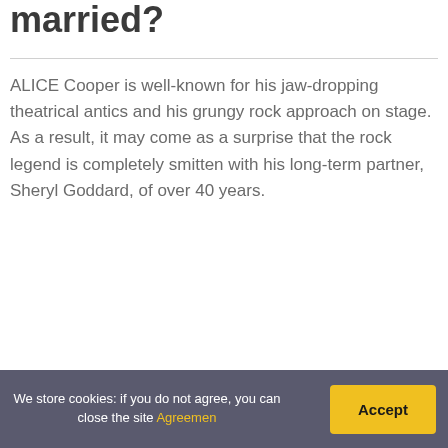married?
ALICE Cooper is well-known for his jaw-dropping theatrical antics and his grungy rock approach on stage. As a result, it may come as a surprise that the rock legend is completely smitten with his long-term partner, Sheryl Goddard, of over 40 years.
We store cookies: if you do not agree, you can close the site Agreemen  Accept